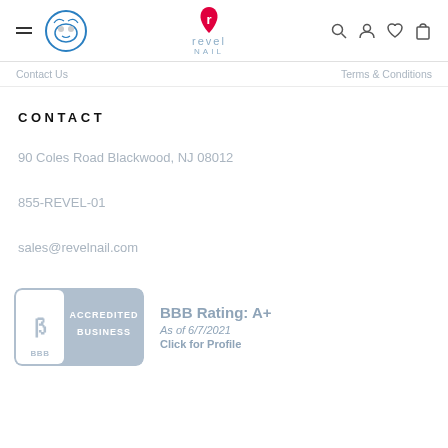[Figure (logo): Revel Nail website header with hamburger menu, animal logo, Revel Nail center logo, and navigation icons (search, user, heart, cart)]
Contact Us   Terms & Conditions
CONTACT
90 Coles Road Blackwood, NJ 08012
855-REVEL-01
sales@revelnail.com
[Figure (logo): BBB Accredited Business badge and BBB Rating: A+ As of 6/7/2021 Click for Profile]